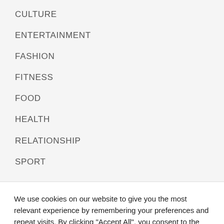CULTURE
ENTERTAINMENT
FASHION
FITNESS
FOOD
HEALTH
RELATIONSHIP
SPORT
We use cookies on our website to give you the most relevant experience by remembering your preferences and repeat visits. By clicking "Accept All", you consent to the use of ALL the cookies. However, you may visit "Cookie Settings" to provide a controlled consent.